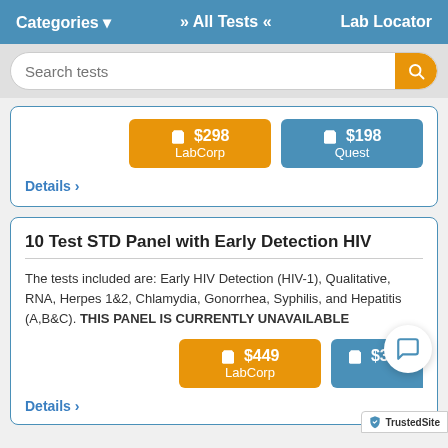Categories ▾   » All Tests «   Lab Locator
Search tests
🛒 $298 LabCorp
🛒 $198 Quest
Details ›
10 Test STD Panel with Early Detection HIV
The tests included are: Early HIV Detection (HIV-1), Qualitative, RNA, Herpes 1&2, Chlamydia, Gonorrhea, Syphilis, and Hepatitis (A,B&C). THIS PANEL IS CURRENTLY UNAVAILABLE
🛒 $449 LabCorp
🛒 $349
Details ›